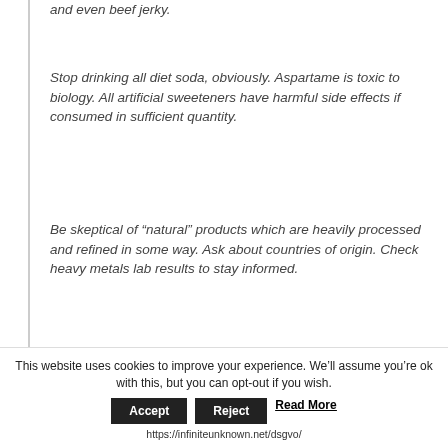and even beef jerky.
Stop drinking all diet soda, obviously. Aspartame is toxic to biology. All artificial sweeteners have harmful side effects if consumed in sufficient quantity.
Be skeptical of “natural” products which are heavily processed and refined in some way. Ask about countries of origin. Check heavy metals lab results to stay informed.
Except for rare exceptions, stop buying superfoods and supplements made in China, the world’s most polluted food producer. The U.S. natural products
This website uses cookies to improve your experience. We’ll assume you’re ok with this, but you can opt-out if you wish.
Accept | Reject | Read More
https://infiniteunknown.net/dsgvo/